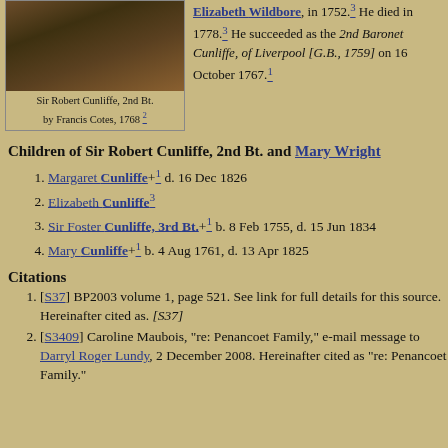[Figure (photo): Portrait painting of Sir Robert Cunliffe, 2nd Bt. by Francis Cotes, 1768]
Sir Robert Cunliffe, 2nd Bt. by Francis Cotes, 1768 2
Elizabeth Wildbore, in 1752.3 He died in 1778.3 He succeeded as the 2nd Baronet Cunliffe, of Liverpool [G.B., 1759] on 16 October 1767.1
Children of Sir Robert Cunliffe, 2nd Bt. and Mary Wright
1. Margaret Cunliffe+1 d. 16 Dec 1826
2. Elizabeth Cunliffe3
3. Sir Foster Cunliffe, 3rd Bt.+1 b. 8 Feb 1755, d. 15 Jun 1834
4. Mary Cunliffe+1 b. 4 Aug 1761, d. 13 Apr 1825
Citations
[S37] BP2003 volume 1, page 521. See link for full details for this source. Hereinafter cited as. [S37]
[S3409] Caroline Maubois, "re: Penancoet Family," e-mail message to Darryl Roger Lundy, 2 December 2008. Hereinafter cited as "re: Penancoet Family."